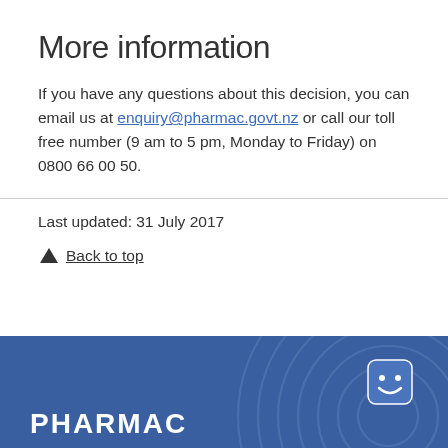More information
If you have any questions about this decision, you can email us at enquiry@pharmac.govt.nz or call our toll free number (9 am to 5 pm, Monday to Friday) on 0800 66 00 50.
Last updated: 31 July 2017
↑ Back to top
[Figure (logo): PHARMAC logo with blue background and decorative swirl pattern, smile icon in top right]